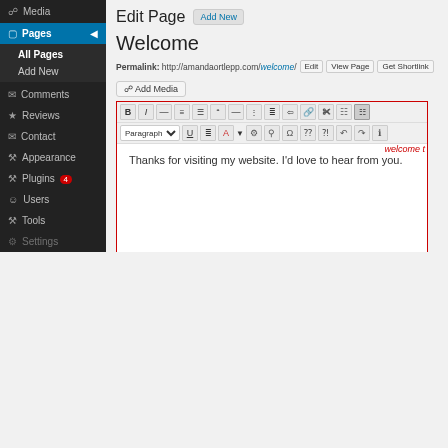[Figure (screenshot): WordPress admin sidebar with menu items: Media, Pages (active with blue highlight), All Pages, Add New, Comments, Reviews, Contact, Appearance, Plugins (with red badge 4), Users, Tools, Settings (partially visible)]
Edit Page  Add New
Welcome
Permalink: http://amandaortlepp.com/welcome/  Edit  View Page  Get Shortlink
[Figure (screenshot): WordPress visual editor showing toolbar with formatting buttons (B, I, link, lists, blockquote, etc.), paragraph selector, underline, alignment buttons, and editor content area with red border outline. Text reads: Thanks for visiting my website. I'd love to hear from you. Red italic text visible at top right: 'welcome t']
Thanks for visiting my website. I'd love to hear from you.